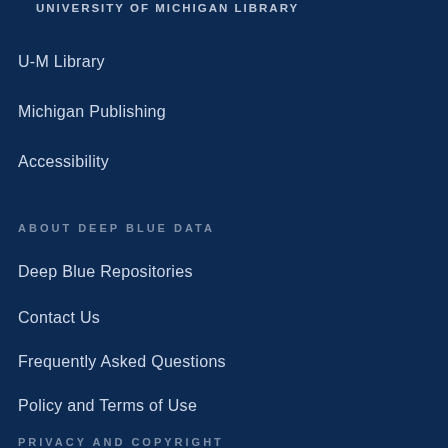UNIVERSITY OF MICHIGAN LIBRARY
U-M Library
Michigan Publishing
Accessibility
ABOUT DEEP BLUE DATA
Deep Blue Repositories
Contact Us
Frequently Asked Questions
Policy and Terms of Use
PRIVACY AND COPYRIGHT